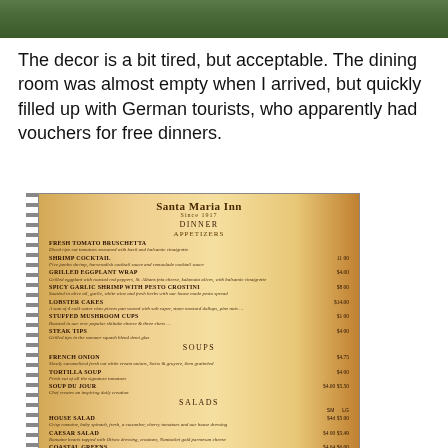[Figure (photo): Top portion of a photo showing greenery/foliage, cropped at top of page]
The decor is a bit tired, but acceptable. The dining room was almost empty when I arrived, but quickly filled up with German tourists, who apparently had vouchers for free dinners.
[Figure (photo): Photo of a Santa Maria Inn restaurant menu showing Dinner section with Appetizers, Soups, Salads, and Fresh Pasta categories, photographed at an angle with warm orange/amber lighting]